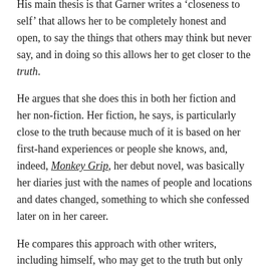His main thesis is that Garner writes a 'closeness to self' that allows her to be completely honest and open, to say the things that others may think but never say, and in doing so this allows her to get closer to the truth.
He argues that she does this in both her fiction and her non-fiction. Her fiction, he says, is particularly close to the truth because much of it is based on her first-hand experiences or people she knows, and, indeed, Monkey Grip, her debut novel, was basically her diaries just with the names of people and locations and dates changed, something to which she confessed later on in her career.
He compares this approach with other writers, including himself, who may get to the truth but only by using fictional characters as a foil to say the things the actual writer would be too guarded to say in non-fiction. He puts it like this: